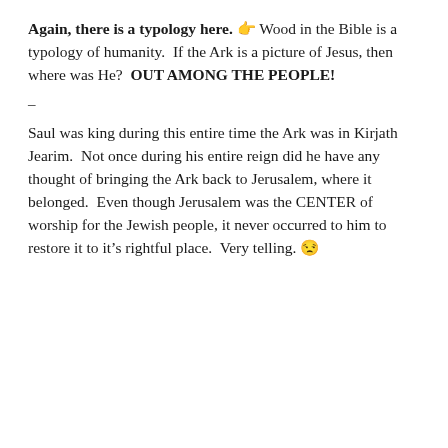Again, there is a typology here. 👉 Wood in the Bible is a typology of humanity. If the Ark is a picture of Jesus, then where was He? OUT AMONG THE PEOPLE!
–
Saul was king during this entire time the Ark was in Kirjath Jearim. Not once during his entire reign did he have any thought of bringing the Ark back to Jerusalem, where it belonged. Even though Jerusalem was the CENTER of worship for the Jewish people, it never occurred to him to restore it to it's rightful place. Very telling. 😒